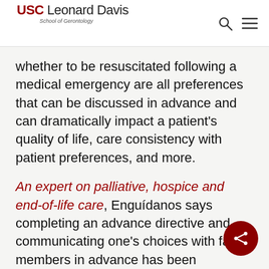USC Leonard Davis School of Gerontology
whether to be resuscitated following a medical emergency are all preferences that can be discussed in advance and can dramatically impact a patient's quality of life, care consistency with patient preferences, and more.
An expert on palliative, hospice and end-of-life care, Enguídanos says completing an advance directive and communicating one's choices with family members in advance has been